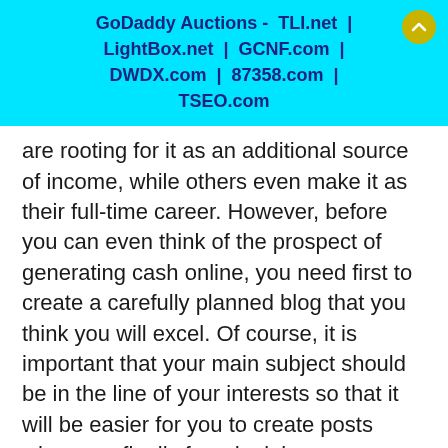GoDaddy Auctions - TLI.net | LightBox.net | GCNF.com | DWDX.com | 87358.com | TSEO.com
are rooting for it as an additional source of income, while others even make it as their full-time career. However, before you can even think of the prospect of generating cash online, you need first to create a carefully planned blog that you think you will excel. Of course, it is important that your main subject should be in the line of your interests so that it will be easier for you to create posts when you finally found a job.
The best way for you to find blogging jobs is by